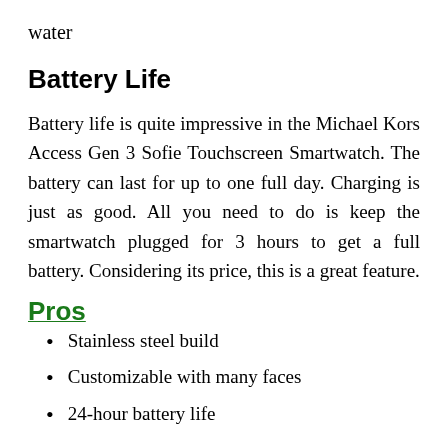water
Battery Life
Battery life is quite impressive in the Michael Kors Access Gen 3 Sofie Touchscreen Smartwatch. The battery can last for up to one full day. Charging is just as good. All you need to do is keep the smartwatch plugged for 3 hours to get a full battery. Considering its price, this is a great feature.
Pros
Stainless steel build
Customizable with many faces
24-hour battery life